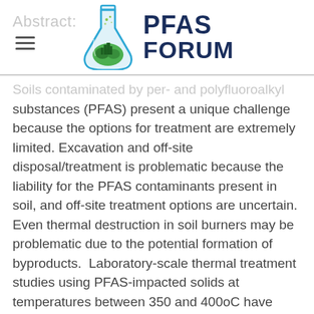Abstract:
[Figure (logo): PFAS Forum logo: a blue teardrop/flask shape containing green landscape and buildings, with 'PFAS FORUM' text in dark navy bold font to the right]
Soils contaminated by per- and polyfluoroalkyl substances (PFAS) present a unique challenge because the options for treatment are extremely limited. Excavation and off-site disposal/treatment is problematic because the liability for the PFAS contaminants present in soil, and off-site treatment options are uncertain. Even thermal destruction in soil burners may be problematic due to the potential formation of byproducts.  Laboratory-scale thermal treatment studies using PFAS-impacted solids at temperatures between 350 and 400oC have shown great promise; all 28 targeted PFAS compounds were effectively removed to near non-detect concentrations. This finding is consistent between studies performed by the TRS Group, Jacobs Engineering, and Kruger. To date, no field-scale